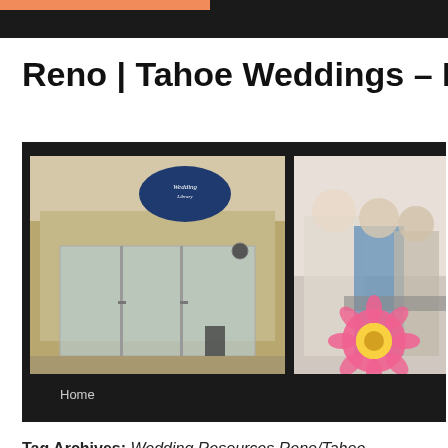Reno | Tahoe Weddings – My W
[Figure (photo): Website banner with two photos side by side on dark background: left photo shows a Wedding Library storefront with glass doors and oval sign, right photo shows people at an indoor event with pink gerbera daisy in foreground. Navigation bar below with 'Home' link.]
Tag Archives: Wedding Resources Reno/Tahoe